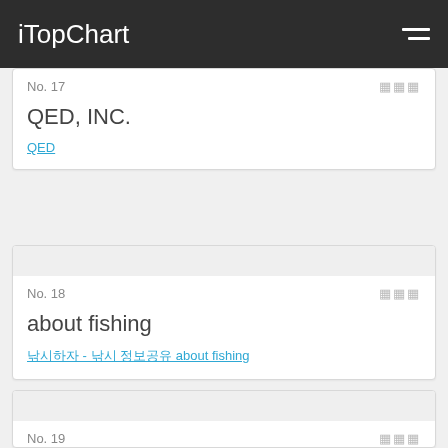iTopChart
No. 17
QED, INC.
QED
No. 18
about fishing
낚시하자 - 낚시 정보공유 about fishing
No. 19
GOLFZON COUNTY